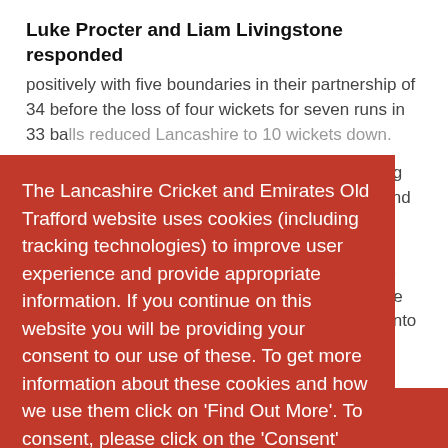Luke Procter and Liam Livingstone responded positively with five boundaries in their partnership of 34 before the loss of four wickets for seven runs in 33 balls reduced Lancashire to 10 wickets down.
The Lancashire Cricket and Emirates Old Trafford website uses cookies (including tracking technologies) to improve user experience and provide appropriate information. If you continue on this website you will be providing your consent to our use of these. To get more information about these cookies and how we use them click on 'Find Out More'. To consent, please click on the 'Consent' button  Find Out More
Consent
A superb, accurate spell of 5-1 in 7 overs by Craig Overton did the damage with Procter edged behind having made 24, followed by Jones lbw for 0 and Dane Vilas also lbw for 4. When Ryan McLaren departed and McLaren, Tom Smith and Zafar Tim Green could to Donn Tesar at fine slip, Lancashire were deep in trouble on 42-6 just after one hour into the day's play.
Livingstone a great
Open menu ☰